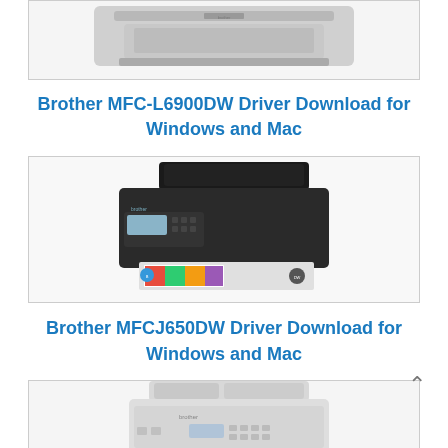[Figure (photo): Top portion of a Brother MFC-L6900DW monochrome laser printer, gray, partially cropped at top]
Brother MFC-L6900DW Driver Download for Windows and Mac
[Figure (photo): Brother MFCJ650DW color inkjet all-in-one printer, black body, with colorful printed pages visible in output tray]
Brother MFCJ650DW Driver Download for Windows and Mac
[Figure (photo): Brother all-in-one printer, gray/white, top portion visible, cropped at bottom of page]